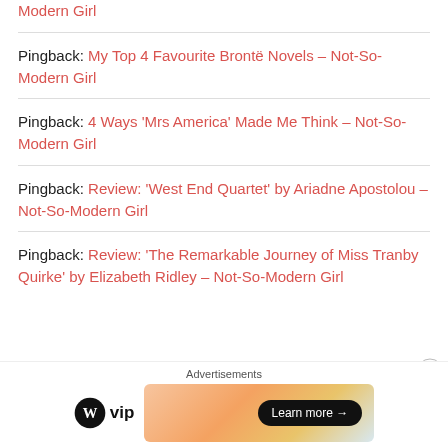Pingback: Modern Girl
Pingback: My Top 4 Favourite Brontë Novels – Not-So-Modern Girl
Pingback: 4 Ways 'Mrs America' Made Me Think – Not-So-Modern Girl
Pingback: Review: 'West End Quartet' by Ariadne Apostolou – Not-So-Modern Girl
Pingback: Review: 'The Remarkable Journey of Miss Tranby Quirke' by Elizabeth Ridley – Not-So-Modern Girl
Advertisements
[Figure (other): WordPress VIP advertisement banner with Learn more button]